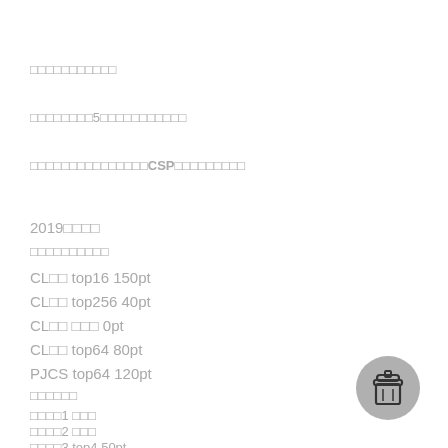□□□□□□□□□□□
□□□□□□□□5□□□□□□□□□□□
□□□□□□□□□□□□□□□CSP□□□□□□□□□
2019□□□□
□□□□□□□□□□
CL□□ top16 150pt
CL□□ top256 40pt
CL□□ □□□ 0pt
CL□□ top64 80pt
PJCS top64 120pt
□□□□□□
□□□□1 □□□
□□□□2 □□□
□□□□3 top4 50pt
[Figure (illustration): Coffee cup icon button in bottom right corner]